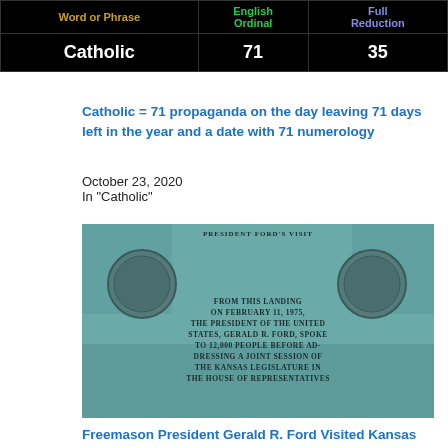| Word or Phrase | English Ordinal | Full Reduction |
| --- | --- | --- |
| Catholic | 71 | 35 |
Catholic = 71 propaganda on the day leaving 71 days left in the year and a date with 71 numerology
October 23, 2020
In "Catholic"
[Figure (photo): Bronze or weathered copper historical plaque reading: FROM THIS LANDING ON FEBRUARY 11, 1975, THE PRESIDENT OF THE UNITED STATES, GERALD R. FORD, SPOKE TO 12,000 PEOPLE BEFORE ADDRESSING A JOINT SESSION OF THE KANSAS LEGISLATURE IN THE HOUSE OF REPRESENTATIVES]
Freemason President Gerald R. Ford Visited Kansas in a